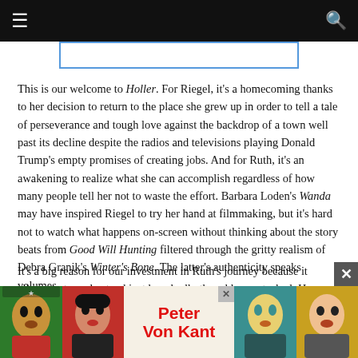Navigation bar with hamburger menu and search icon
[Figure (other): Advertisement banner placeholder with blue border]
This is our welcome to Holler. For Riegel, it's a homecoming thanks to her decision to return to the place she grew up in order to tell a tale of perseverance and tough love against the backdrop of a town well past its decline despite the radios and televisions playing Donald Trump's empty promises of creating jobs. And for Ruth, it's an awakening to realize what she can accomplish regardless of how many people tell her not to waste the effort. Barbara Loden's Wanda may have inspired Riegel to try her hand at filmmaking, but it's hard not to watch what happens on-screen without thinking about the story beats from Good Will Hunting filtered through the gritty realism of Debra Granik's Winter's Bone. The latter's authenticity speaks volumes.
It's a big reason for our investment in Ruth's journey because it allows us to understand just how badly the odds are stacked. Her college a... he can't afford tui... ter because Klaze spent that seventy-five dollars sending in the
[Figure (other): Bottom advertisement banner for Peter Von Kant with colorful face portraits on left and right sides]